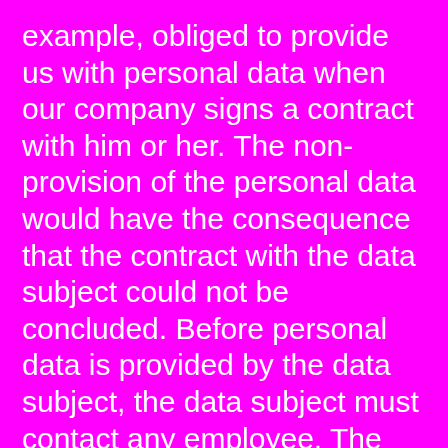example, obliged to provide us with personal data when our company signs a contract with him or her. The non-provision of the personal data would have the consequence that the contract with the data subject could not be concluded. Before personal data is provided by the data subject, the data subject must contact any employee. The employee clarifies to the data subject whether the provision of the personal data is required by law or contract or is necessary for the conclusion of the contract, whether there is an obligation to provide the personal data and the consequences of non-